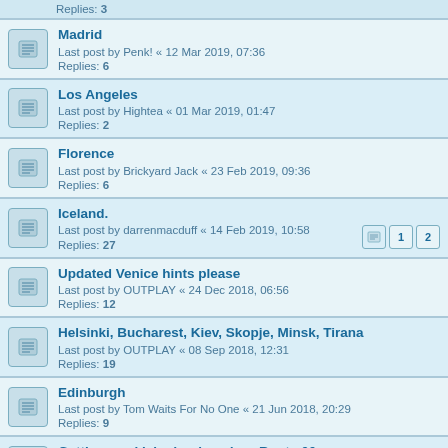Replies: 3
Madrid
Last post by Penk! « 12 Mar 2019, 07:36
Replies: 6
Los Angeles
Last post by Hightea « 01 Mar 2019, 01:47
Replies: 2
Florence
Last post by Brickyard Jack « 23 Feb 2019, 09:36
Replies: 6
Iceland.
Last post by darrenmacduff « 14 Feb 2019, 10:58
Replies: 27
Updated Venice hints please
Last post by OUTPLAY « 24 Dec 2018, 06:56
Replies: 12
Helsinki, Bucharest, Kiev, Skopje, Minsk, Tirana
Last post by OUTPLAY « 08 Sep 2018, 12:31
Replies: 19
Edinburgh
Last post by Tom Waits For No One « 21 Jun 2018, 20:29
Replies: 9
Getting our kicks (we hope) on Route 66
Last post by toomanyhatz « 18 Jun 2018, 08:19
Replies: 9
NYC, late May-early June
Last post by Hightea « 12 May 2018, 05:11
Replies: 3
10 day trip to England